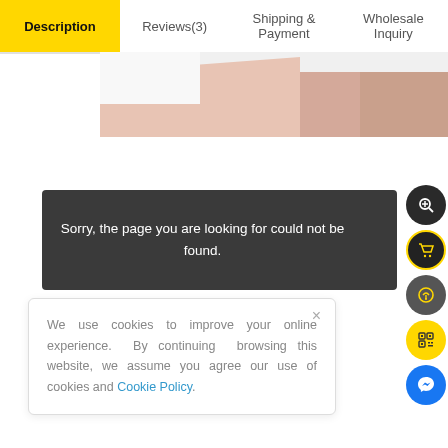Description | Reviews(3) | Shipping & Payment | Wholesale Inquiry
[Figure (photo): Partial product image showing a skin-tone colored surface against a white background]
Sorry, the page you are looking for could not be found.
We use cookies to improve your online experience. By continuing browsing this website, we assume you agree our use of cookies and Cookie Policy.